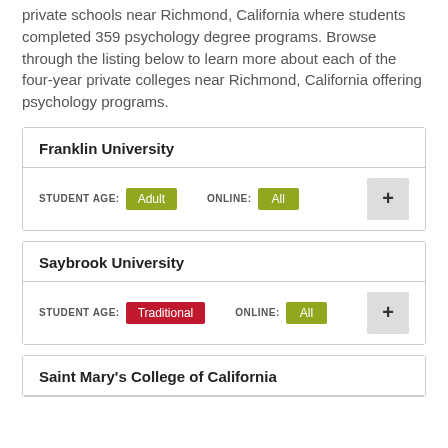private schools near Richmond, California where students completed 359 psychology degree programs. Browse through the listing below to learn more about each of the four-year private colleges near Richmond, California offering psychology programs.
Franklin University — STUDENT AGE: Adult, ONLINE: All
Saybrook University — STUDENT AGE: Traditional, ONLINE: All
Saint Mary's College of California